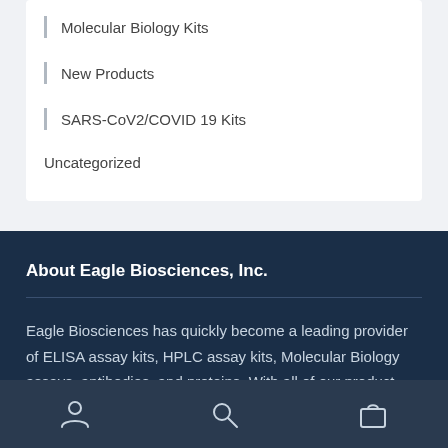Molecular Biology Kits
New Products
SARS-CoV2/COVID 19 Kits
Uncategorized
About Eagle Biosciences, Inc.
Eagle Biosciences has quickly become a leading provider of ELISA assay kits, HPLC assay kits, Molecular Biology assays, antibodies, and proteins. With all of our product offerings, we